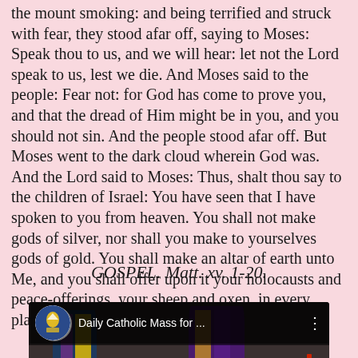the mount smoking: and being terrified and struck with fear, they stood afar off, saying to Moses: Speak thou to us, and we will hear: let not the Lord speak to us, lest we die. And Moses said to the people: Fear not: for God has come to prove you, and that the dread of Him might be in you, and you should not sin. And the people stood afar off. But Moses went to the dark cloud wherein God was. And the Lord said to Moses: Thus, shalt thou say to the children of Israel: You have seen that I have spoken to you from heaven. You shall not make gods of silver, nor shall you make to yourselves gods of gold. You shall make an altar of earth unto Me, and you shall offer upon it your holocausts and peace-offerings, your sheep and oxen, in every place where the memory of My name shall be.
GOSPEL. Matt. xv. 1-20.
[Figure (screenshot): YouTube video thumbnail showing a Daily Catholic Mass video. A priest in purple vestments stands at an altar in a church with stained glass windows. The YouTube play button (red with white triangle) is visible at the bottom center. At the top is a dark overlay bar with a circular diocesan logo/avatar and the text 'Daily Catholic Mass for ...' with a three-dot menu icon.]